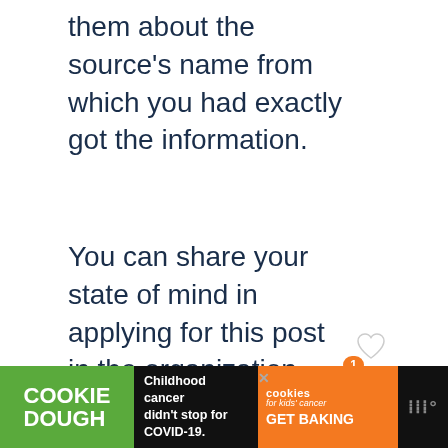any other job profile, you must inform them about the source's name from which you had exactly got the information.
You can share your state of mind in applying for this post in the organization. You can guide the recruiter to check the curriculum vitae attached and the educational and experience certificates. Use this letter structure to adopt the pattern of writing.
[Figure (screenshot): Advertisement banner at the bottom: Cookie Dough (green), Childhood cancer didn't stop for COVID-19., cookies for kids' cancer GET BAKING (orange), and a close/share UI]